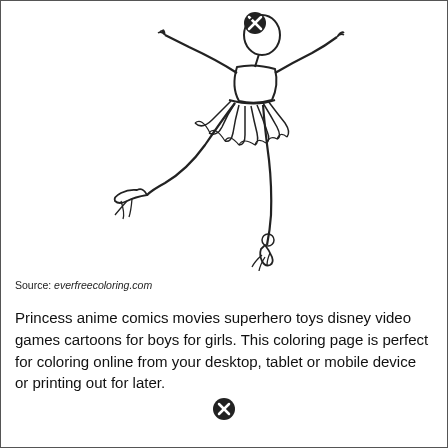[Figure (illustration): Line drawing coloring page of a ballerina in a tutu performing a grand jeté or arabesque pose, wearing ballet pointe shoes with ribbons. The figure is mid-leap with one leg extended behind and arms outstretched. Two circular close/delete button icons overlay the image.]
Source: everfreecoloring.com
Princess anime comics movies superhero toys disney video games cartoons for boys for girls. This coloring page is perfect for coloring online from your desktop, tablet or mobile device or printing out for later.